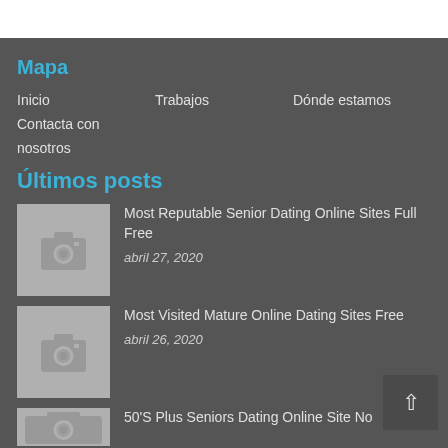Mapa
Inicio
Trabajos
Dónde estamos
Contacta con nosotros
Últimos posts
[Figure (photo): Placeholder camera thumbnail]
Most Reputable Senior Dating Online Sites Full Free
abril 27, 2020
[Figure (photo): Placeholder camera thumbnail]
Most Visited Mature Online Dating Sites Free
abril 26, 2020
[Figure (photo): Placeholder camera thumbnail (partial)]
50'S Plus Seniors Dating Online Site No